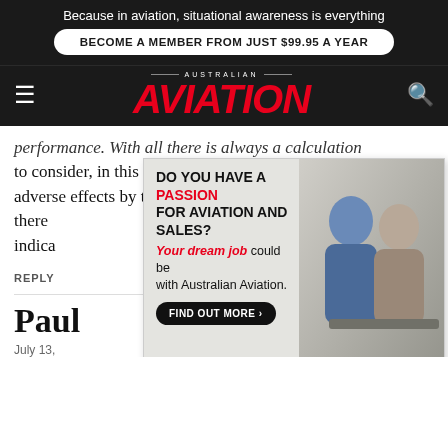Because in aviation, situational awareness is everything
BECOME A MEMBER FROM JUST $99.95 A YEAR
[Figure (logo): Australian Aviation logo with AVIATION in large red italic text]
performance. With all there is always a calculation to consider, in this case many thousands of lives adversely affected by the aviation. For action, there are indicators s indicates
REPLY
Paul
July 13,
[Figure (infographic): Australian Aviation job advertisement: DO YOU HAVE A PASSION FOR AVIATION AND SALES? Your dream job could be with Australian Aviation. FIND OUT MORE button, with photo of two people and Australian Aviation logo. QinetiQ Enabling critical UAS technologies banner at bottom.]